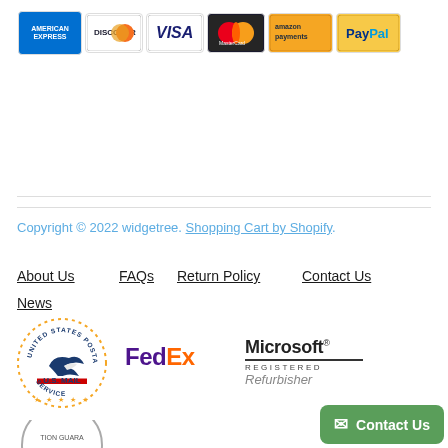[Figure (logo): Payment method icons: American Express, Discover, Visa, Mastercard, Amazon Payments, PayPal]
Copyright © 2022 widgetree. Shopping Cart by Shopify.
About Us
FAQs
Return Policy
Contact Us
News
[Figure (logo): United States Postal Service (USPS) U.S. Mail logo]
[Figure (logo): FedEx logo]
[Figure (logo): Microsoft Registered Refurbisher logo]
[Figure (infographic): Satisfaction guarantee badge (partially visible at bottom)]
Contact Us (button, bottom right)